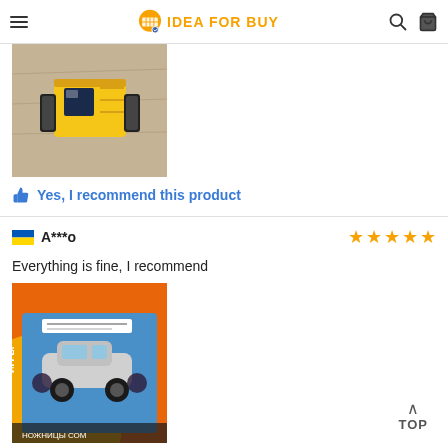IDEA FOR BUY
[Figure (photo): Top-down photo of a yellow toy construction vehicle/bulldozer on a wooden surface]
Yes, I recommend this product
A***o — Everything is fine, I recommend — 5 stars
[Figure (photo): Photo of a toy car (silver/white) in orange packaging with Russian text]